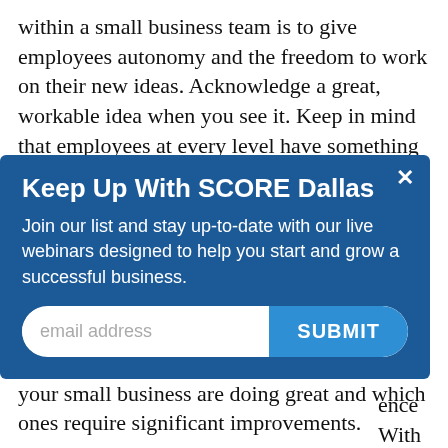within a small business team is to give employees autonomy and the freedom to work on their new ideas. Acknowledge a great, workable idea when you see it. Keep in mind that employees at every level have something to contribute.
[Figure (screenshot): A modal popup overlay with dark blue background. Title: 'Keep Up With SCORE Dallas'. Body text: 'Join our list and stay up-to-date with our live webinars designed to help you start and grow a successful business.' Email input field with placeholder 'email address' and a 'SUBMIT' button. An X close button in the top right corner.]
feedback, you can identify which areas of your small business are doing great and which ones require significant improvements.